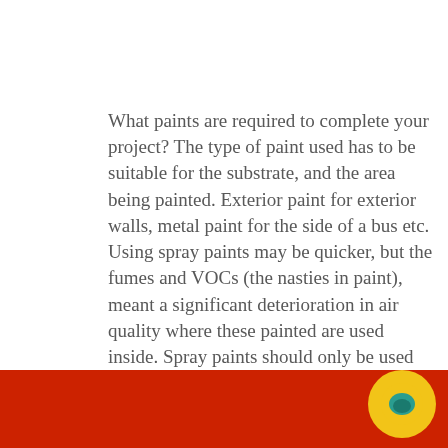What paints are required to complete your project? The type of paint used has to be suitable for the substrate, and the area being painted. Exterior paint for exterior walls, metal paint for the side of a bus etc. Using spray paints may be quicker, but the fumes and VOCs (the nasties in paint), meant a significant deterioration in air quality where these painted are used inside. Spray paints should only be used outside or in transitory spaces, where no one will be spending
This website uses cookies to improve your experience. Let us know if you are OK with this, but you can opt-out if you wish. Cookie settings ACCEPT
[Figure (photo): Bottom portion of page showing a red background with partial image content, and a yellow circular chat bubble icon in the bottom right corner]